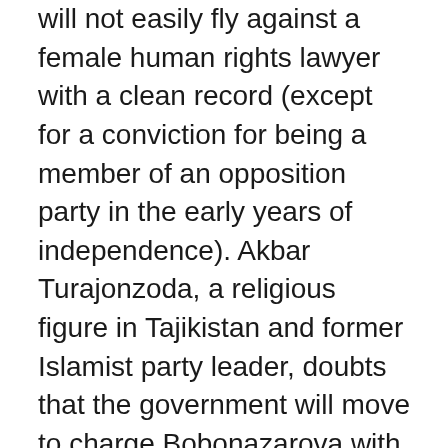will not easily fly against a female human rights lawyer with a clean record (except for a conviction for being a member of an opposition party in the early years of independence). Akbar Turajonzoda, a religious figure in Tajikistan and former Islamist party leader, doubts that the government will move to charge Bobonazarova with anything, even if campaign staff report obstacles being put up to impede Bobonazarova's run.
Other candidates have not been so lucky. In May, Zayd Saidov, a businessman and opposition leader, was arrested on charges of fraud and polygamy. The relatively unknown opposition leader Umarali Kuvatov was conveniently arrested last December in Dubai at the behest of the Tajik government, also on charges of fraud.
The Islamists, if they are able to reap any benefits from their support of Bobonazarova, will have to wait for many years for a real chance at electoral success. Either Bobonazarova can succeed in dislodging the...